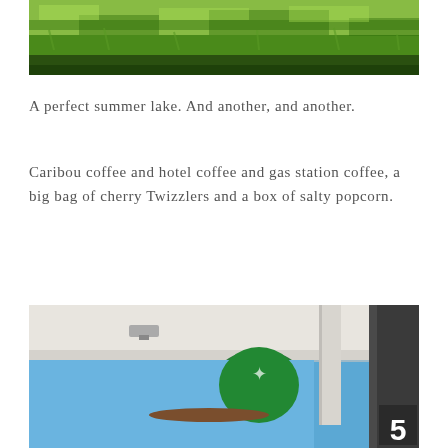[Figure (photo): Top portion of a photo showing green grass and ground, cropped at top of page]
A perfect summer lake. And another, and another.
Caribou coffee and hotel coffee and gas station coffee, a big bag of cherry Twizzlers and a box of salty popcorn.
[Figure (photo): Photo taken at a gas station showing a gas pump with number 5, a Starbucks cup on a ledge, blue sky visible, canopy overhead]